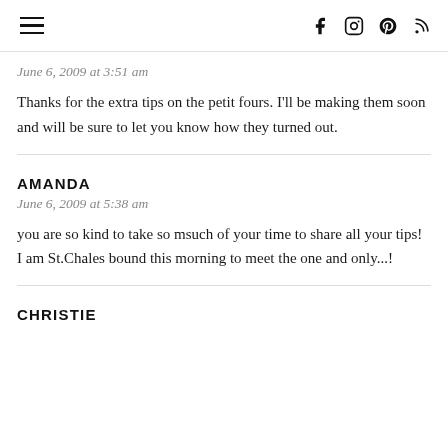≡  f  instagram  pinterest  rss
June 6, 2009 at 3:51 am
Thanks for the extra tips on the petit fours. I'll be making them soon and will be sure to let you know how they turned out.
AMANDA
June 6, 2009 at 5:38 am
you are so kind to take so msuch of your time to share all your tips! I am St.Chales bound this morning to meet the one and only...!
CHRISTIE